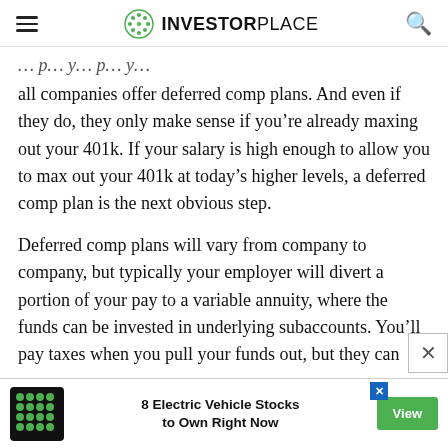INVESTORPLACE
all companies offer deferred comp plans. And even if they do, they only make sense if you’re already maxing out your 401k. If your salary is high enough to allow you to max out your 401k at today’s higher levels, a deferred comp plan is the next obvious step.
Deferred comp plans will vary from company to company, but typically your employer will divert a portion of your pay to a variable annuity, where the funds can be invested in underlying subaccounts. You’ll pay taxes when you pull your funds out, but they can
[Figure (infographic): Advertisement banner at bottom: green dotted logo, text '8 Electric Vehicle Stocks to Own Right Now', green View button, and close X icon]